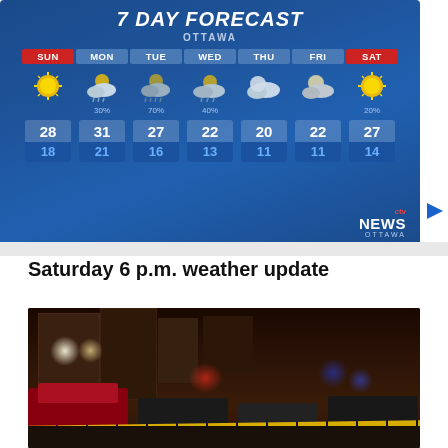[Figure (screenshot): 7 Day Forecast weather graphic for Ottawa from CTV News Ottawa. Days: SUN, MON, TUE, WED, THU, FRI, SAT. High temps: 28, 31, 27, 22, 20, 22, 27. Low temps: 18, 21, 16, 13, 11, 11, 14. Precipitation chances: MON 30%, TUE 70%, WED 40%, SAT 20%.]
Saturday 6 p.m. weather update
[Figure (photo): Nighttime street scene with police tape, emergency lights, cars, and city buildings in the background.]